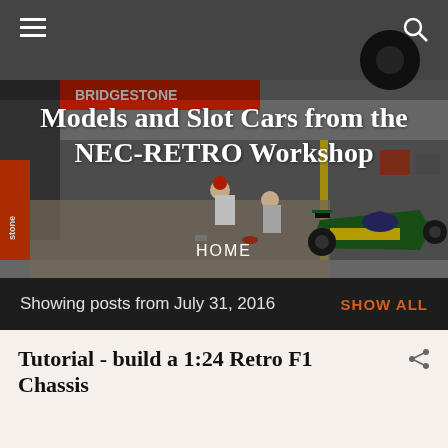[Figure (photo): Aerial/top-down photo of a slot car racing pit lane scene with miniature figures, racing cars on a track including a green Formula 1 car, pit lane barriers with Bridgestone branding]
Models and Slot Cars from the NEC-RETRO Workshop
HOME
Showing posts from July 31, 2016
SHOW ALL
Tutorial - build a 1:24 Retro F1 Chassis
Neckcheese Tutorial: Building a 1:24 Retro F1 chassis Materials: If you are not fond of cutting and drilling a droparm, a piece of